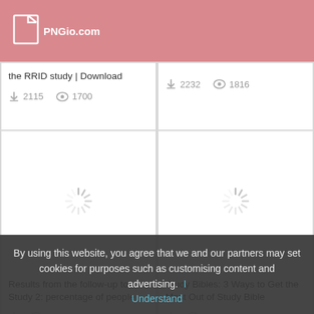PNGio.com
the RRID study | Download
2115  1700
2232  1816
[Figure (photo): Loading spinner placeholder image]
[Figure (photo): Loading spinner placeholder image]
Results from the follow-up to Study 2: percentage of people
Study Bibles: 3 Ways to Get the Most Out of Study Bible
By using this website, you agree that we and our partners may set cookies for purposes such as customising content and advertising.
Understand